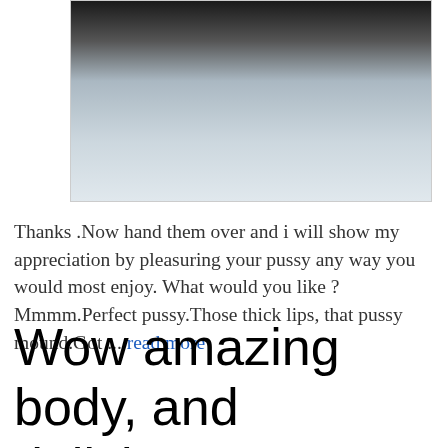[Figure (photo): Partial photo showing a white towel and dark background]
Thanks .Now hand them over and i will show my appreciation by pleasuring your pussy any way you would most enjoy. What would you like ? Mmmm.Perfect pussy.Those thick lips, that pussy mound.Got ... read more
Wow amazing body, and delicious pussy lips, you can ride my cock anytime